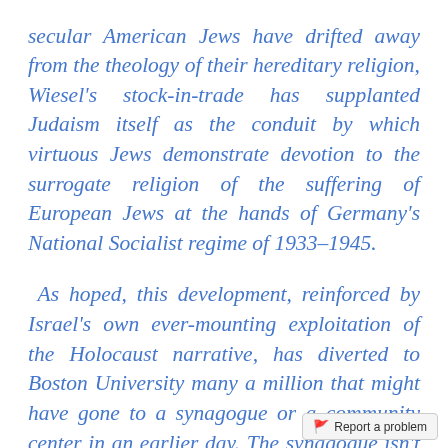secular American Jews have drifted away from the theology of their hereditary religion, Wiesel's stock-in-trade has supplanted Judaism itself as the conduit by which virtuous Jews demonstrate devotion to the surrogate religion of the suffering of European Jews at the hands of Germany's National Socialist regime of 1933–1945.

As hoped, this development, reinforced by Israel's own ever-mounting exploitation of the Holocaust narrative, has diverted to Boston University many a million that might have gone to a synagogue or a community center in an earlier day. The synagogue isn't going to get your kids admitted to a Good School anyway, and BU's student includes which…